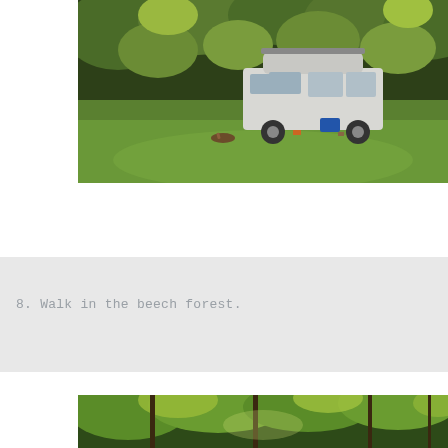[Figure (photo): A white conversion van with a roof rack parked in a green grassy field with dense trees in the background. Camping scene with a blue cooler and small items near the van.]
8. Walk in the beech forest.
[Figure (photo): A beech forest with sunlight filtering through the canopy of green leaves.]